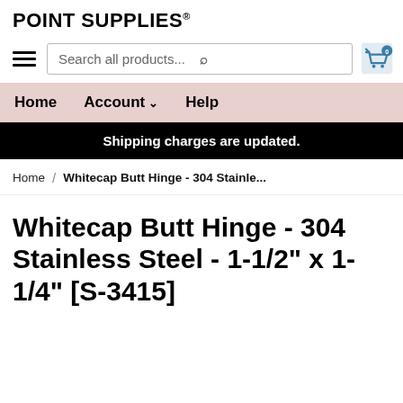POINT SUPPLIES®
Search all products...
Home  Account ∨  Help
Shipping charges are updated.
Home / Whitecap Butt Hinge - 304 Stainle...
Whitecap Butt Hinge - 304 Stainless Steel - 1-1/2" x 1-1/4" [S-3415]